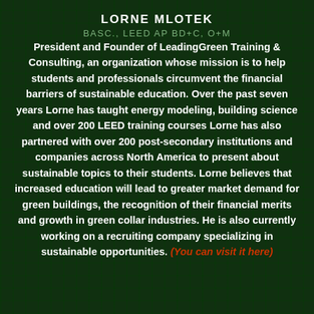LORNE MLOTEK
BASC., LEED AP BD+C, O+M
President and Founder of LeadingGreen Training & Consulting, an organization whose mission is to help students and professionals circumvent the financial barriers of sustainable education. Over the past seven years Lorne has taught energy modeling, building science and over 200 LEED training courses Lorne has also partnered with over 200 post-secondary institutions and companies across North America to present about sustainable topics to their students. Lorne believes that increased education will lead to greater market demand for green buildings, the recognition of their financial merits and growth in green collar industries. He is also currently working on a recruiting company specializing in sustainable opportunities. (You can visit it here)